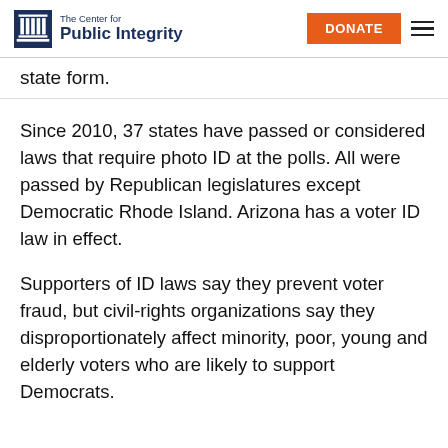The Center for Public Integrity | DONATE
state form.
Since 2010, 37 states have passed or considered laws that require photo ID at the polls. All were passed by Republican legislatures except Democratic Rhode Island. Arizona has a voter ID law in effect.
Supporters of ID laws say they prevent voter fraud, but civil-rights organizations say they disproportionately affect minority, poor, young and elderly voters who are likely to support Democrats.